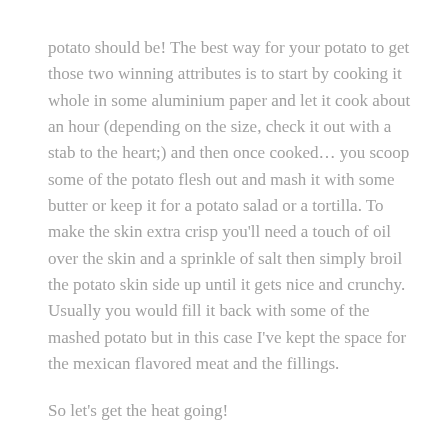potato should be! The best way for your potato to get those two winning attributes is to start by cooking it whole in some aluminium paper and let it cook about an hour (depending on the size, check it out with a stab to the heart;) and then once cooked… you scoop some of the potato flesh out and mash it with some butter or keep it for a potato salad or a tortilla. To make the skin extra crisp you'll need a touch of oil over the skin and a sprinkle of salt then simply broil the potato skin side up until it gets nice and crunchy. Usually you would fill it back with some of the mashed potato but in this case I've kept the space for the mexican flavored meat and the fillings.
So let's get the heat going!